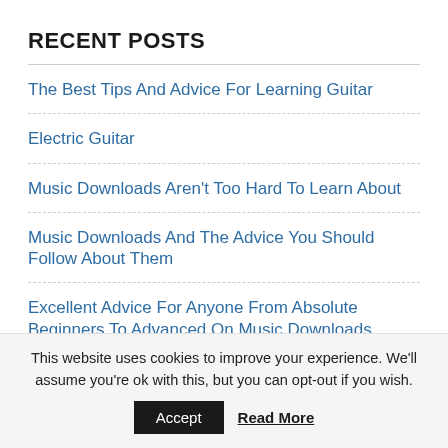RECENT POSTS
The Best Tips And Advice For Learning Guitar
Electric Guitar
Music Downloads Aren't Too Hard To Learn About
Music Downloads And The Advice You Should Follow About Them
Excellent Advice For Anyone From Absolute Beginners To Advanced On Music Downloads
This website uses cookies to improve your experience. We'll assume you're ok with this, but you can opt-out if you wish.
Accept   Read More